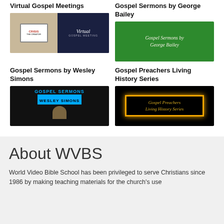Virtual Gospel Meetings
[Figure (screenshot): Thumbnail for Virtual Gospel Meetings: split image showing a laptop with Crisis/Creator text on left, and Virtual Gospel Meeting text on dark navy background on right]
Gospel Sermons by George Bailey
[Figure (screenshot): Thumbnail for Gospel Sermons by George Bailey: green background with italic white serif text reading 'Gospel Sermons by George Bailey']
Gospel Sermons by Wesley Simons
[Figure (screenshot): Thumbnail for Gospel Sermons by Wesley Simons: black background with 'GOSPEL SERMONS' in blue text, 'WESLEY SIMONS' in black text on blue bar, and a figure of a preacher below]
Gospel Preachers Living History Series
[Figure (screenshot): Thumbnail for Gospel Preachers Living History Series: black background with a glowing golden border box containing italic gold text 'Gospel Preachers Living History Series']
About WVBS
World Video Bible School has been privileged to serve Christians since 1986 by making teaching materials for the church's use